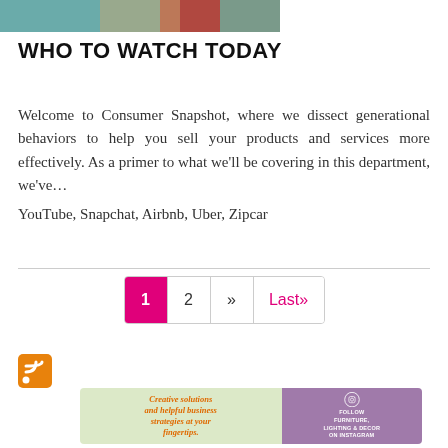[Figure (photo): Partial image at top showing people (cropped), with teal/green and red clothing visible]
WHO TO WATCH TODAY
Welcome to Consumer Snapshot, where we dissect generational behaviors to help you sell your products and services more effectively. As a primer to what we'll be covering in this department, we've…
YouTube, Snapchat, Airbnb, Uber, Zipcar
[Figure (other): Pagination navigation showing: 1 (active, pink background), 2, >>, Last»]
[Figure (other): RSS feed icon in orange]
[Figure (other): Advertisement banner: left side light green with orange italic text 'Creative solutions and helpful business strategies at your fingertips.'; right side purple with Instagram logo and text 'FOLLOW FURNITURE, LIGHTING & DECOR ON INSTAGRAM']